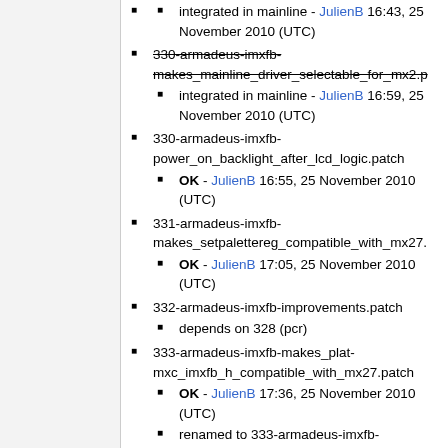integrated in mainline - JulienB 16:43, 25 November 2010 (UTC)
330-armadeus-imxfb-makes_mainline_driver_selectable_for_mx2.p (strikethrough)
integrated in mainline - JulienB 16:59, 25 November 2010 (UTC)
330-armadeus-imxfb-power_on_backlight_after_lcd_logic.patch
OK - JulienB 16:55, 25 November 2010 (UTC)
331-armadeus-imxfb-makes_setpalettereg_compatible_with_mx27.p
OK - JulienB 17:05, 25 November 2010 (UTC)
332-armadeus-imxfb-improvements.patch
depends on 328 (pcr)
333-armadeus-imxfb-makes_plat-mxc_imxfb_h_compatible_with_mx27.patch
OK - JulienB 17:36, 25 November 2010 (UTC)
renamed to 333-armadeus-imxfb-makes_distinction_between_mx1_and_mx